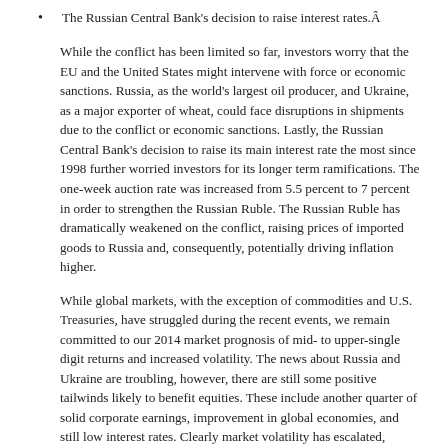The Russian Central Bank's decision to raise interest rates.Â
While the conflict has been limited so far, investors worry that the EU and the United States might intervene with force or economic sanctions. Russia, as the world's largest oil producer, and Ukraine, as a major exporter of wheat, could face disruptions in shipments due to the conflict or economic sanctions. Lastly, the Russian Central Bank's decision to raise its main interest rate the most since 1998 further worried investors for its longer term ramifications. The one-week auction rate was increased from 5.5 percent to 7 percent in order to strengthen the Russian Ruble. The Russian Ruble has dramatically weakened on the conflict, raising prices of imported goods to Russia and, consequently, potentially driving inflation higher.
While global markets, with the exception of commodities and U.S. Treasuries, have struggled during the recent events, we remain committed to our 2014 market prognosis of mid- to upper-single digit returns and increased volatility. The news about Russia and Ukraine are troubling, however, there are still some positive tailwinds likely to benefit equities. These include another quarter of solid corporate earnings, improvement in global economies, and still low interest rates. Clearly market volatility has escalated, which is not a surprise, given the recent geopolitical events, however, mitigating against it in portfolios is of utmost importance. With this in mind, we continue to target increased diversification and the use of liquid alternative investments which have historically zigged when the markets have zagged.